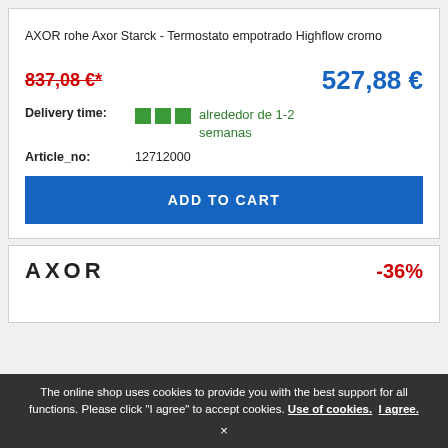AXOR rohe Axor Starck - Termostato empotrado Highflow cromo
837,08 €*
527,88 €
Delivery time: alrededor de 1-2 semanas
Article_no: 12712000
ADD TO CART
AXOR
-36%
The online shop uses cookies to provide you with the best support for all functions. Please click "I agree" to accept cookies. Use of cookies. I agree. ×